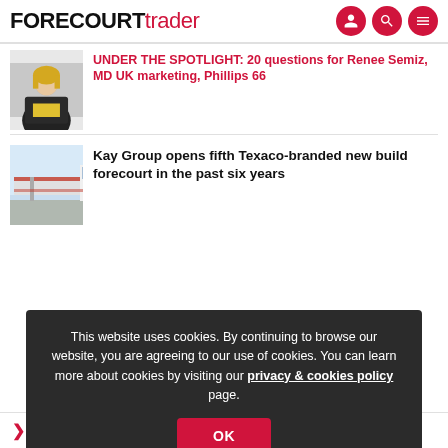FORECOURT trader
UNDER THE SPOTLIGHT: 20 questions for Renee Semiz, MD UK marketing, Phillips 66
Kay Group opens fifth Texaco-branded new build forecourt in the past six years
This website uses cookies. By continuing to browse our website, you are agreeing to our use of cookies. You can learn more about cookies by visiting our privacy & cookies policy page.
OK
Reuse our content